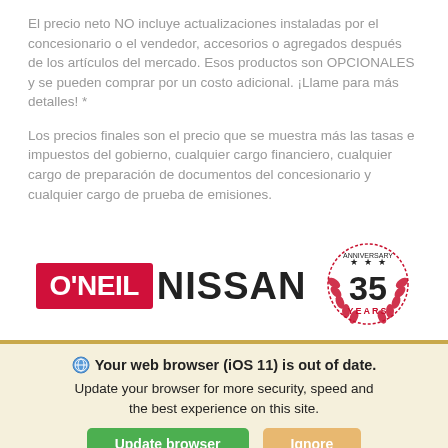El precio neto NO incluye actualizaciones instaladas por el concesionario o el vendedor, accesorios o agregados después de los artículos del mercado. Esos productos son OPCIONALES y se pueden comprar por un costo adicional. ¡Llame para más detalles! *
Los precios finales son el precio que se muestra más las tasas e impuestos del gobierno, cualquier cargo financiero, cualquier cargo de preparación de documentos del concesionario y cualquier cargo de prueba de emisiones.
[Figure (logo): O'Neil Nissan logo with 35 Anniversary Years badge]
Your web browser (iOS 11) is out of date. Update your browser for more security, speed and the best experience on this site.
Update browser | Ignore